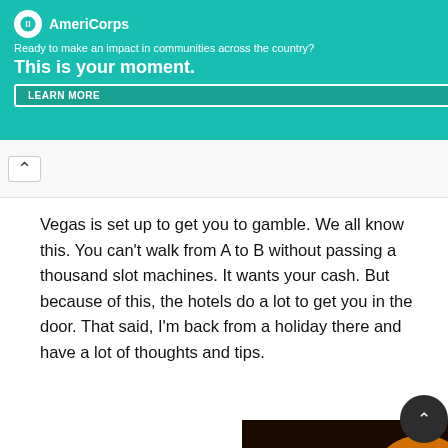[Figure (screenshot): AmeriCorps advertisement banner with teal/green background. Logo with white circle, bold white text 'AmeriCorps'. Tagline: 'Ready to make an impact in communities across the country?' Headline: 'This is your moment.' Button: 'LEARN MORE'. Right side shows a photo of a person.]
Vegas is set up to get you to gamble. We all know this. You can't walk from A to B without passing a thousand slot machines. It wants your cash. But because of this, the hotels do a lot to get you in the door. That said, I'm back from a holiday there and have a lot of thoughts and tips.
[Figure (photo): Colorful glass art installation photo showing overlapping circular glass flower shapes in vivid colors including red, orange, yellow, blue, purple, and green, viewed from below, resembling a Chihuly glass ceiling.]